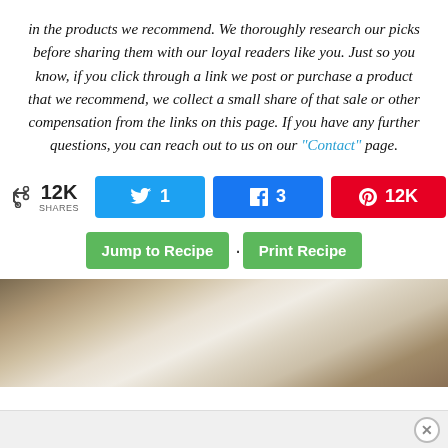in the products we recommend. We thoroughly research our picks before sharing them with our loyal readers like you. Just so you know, if you click through a link we post or purchase a product that we recommend, we collect a small share of that sale or other compensation from the links on this page. If you have any further questions, you can reach out to us on our "Contact" page.
< 12K SHARES | Twitter: 1 | Facebook: 3 | Pinterest: 12K
Jump to Recipe · Print Recipe
[Figure (photo): Food photo showing a glass jar with creamy contents, with ingredients like brown sugar visible in background on a wooden surface]